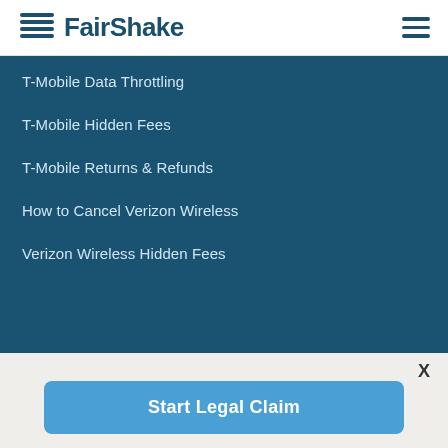FairShake
T-Mobile Data Throttling
T-Mobile Hidden Fees
T-Mobile Returns & Refunds
How to Cancel Verizon Wireless
Verizon Wireless Hidden Fees
Start Legal Claim